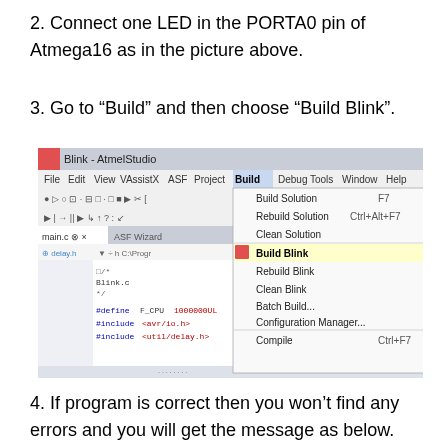2. Connect one LED in the PORTA0 pin of Atmega16 as in the picture above.
3. Go to “Build” and then choose “Build Blink”.
[Figure (screenshot): Atmel Studio IDE showing Build menu open with 'Build Blink' option highlighted in yellow. The menu shows options: Build Solution (F7), Rebuild Solution (Ctrl+Alt+F7), Clean Solution, Build Blink (highlighted), Rebuild Blink, Clean Blink, Batch Build..., Configuration Manager..., Compile (Ctrl+F7). The editor shows main.c with Blink.c code including #define F_CPU 1000000UL, #include <avr/io.h>, #include<util/delay.h>.]
4. If program is correct then you won’t find any errors and you will get the message as below.